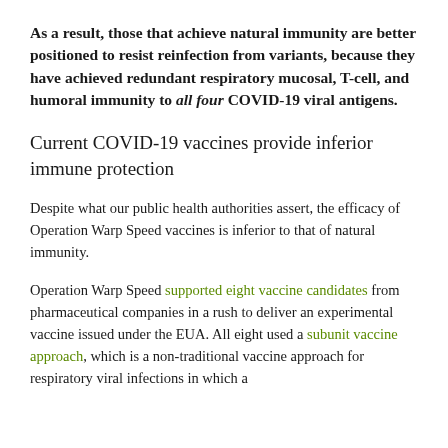As a result, those that achieve natural immunity are better positioned to resist reinfection from variants, because they have achieved redundant respiratory mucosal, T-cell, and humoral immunity to all four COVID-19 viral antigens.
Current COVID-19 vaccines provide inferior immune protection
Despite what our public health authorities assert, the efficacy of Operation Warp Speed vaccines is inferior to that of natural immunity.
Operation Warp Speed supported eight vaccine candidates from pharmaceutical companies in a rush to deliver an experimental vaccine issued under the EUA. All eight used a subunit vaccine approach, which is a non-traditional vaccine approach for respiratory viral infections in which a fragment of the virus (in this case the spike protein) is